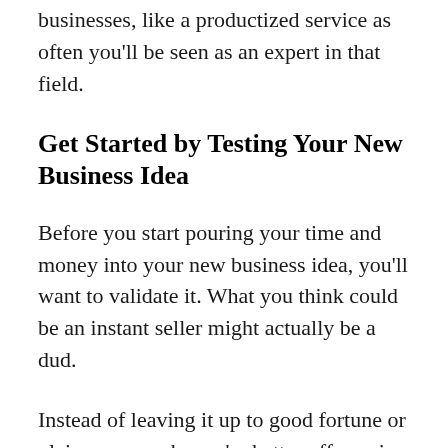businesses, like a productized service as often you'll be seen as an expert in that field.
Get Started by Testing Your New Business Idea
Before you start pouring your time and money into your new business idea, you'll want to validate it. What you think could be an instant seller might actually be a dud.
Instead of leaving it up to good fortune or plain guesswork, you're better off proving demand first. I see 2 clear ways to validate your product without breaking the bank.